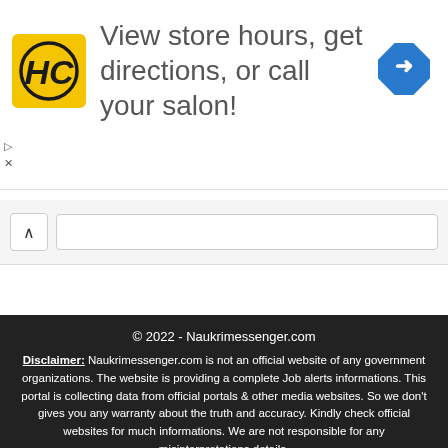[Figure (infographic): Advertisement banner with HC (Hairclub) yellow logo on left, text 'View store hours, get directions, or call your salon!' in grey, and a blue diamond-shaped direction arrow icon on the right]
West Bengal
© 2022 - Naukrimessenger.com
Disclaimer: Naukrimessenger.com is not an official website of any government organizations. The website is providing a complete Job alerts informations. This portal is collecting data from official portals & other media websites. So we don't gives you any warranty about the truth and accuracy. Kindly check official websites for much informations. We are not responsible for any misinterpretations details.